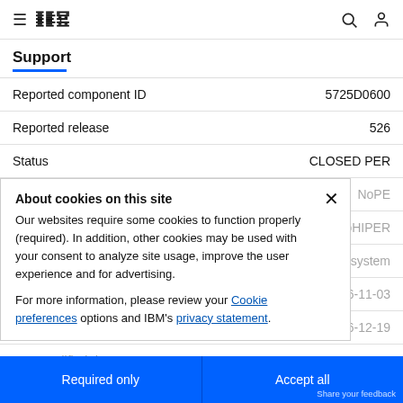IBM Support
Support
| Field | Value |
| --- | --- |
| Reported component ID | 5725D0600 |
| Reported release | 526 |
| Status | CLOSED PER |
| PE | NoPE |
| HIPER | NoHIPER |
| Special Attention | Xsystem |
| Submitted date | 2016-11-03 |
| Closed date | 2016-12-19 |
| Last modified date | 2016-12-19 |
About cookies on this site
Our websites require some cookies to function properly (required). In addition, other cookies may be used with your consent to analyze site usage, improve the user experience and for advertising.
For more information, please review your Cookie preferences options and IBM's privacy statement.
APAR is sysrouted FROM one or more of the following:
APAR is sysrouted TO one or more of the following:
Fix information
Required only | Accept all | Share your feedback